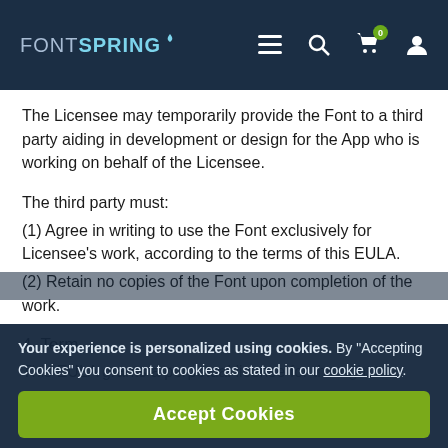FONTSPRING
The Licensee may temporarily provide the Font to a third party aiding in development or design for the App who is working on behalf of the Licensee.
The third party must:
(1) Agree in writing to use the Font exclusively for Licensee's work, according to the terms of this EULA.
(2) Retain no copies of the Font upon completion of the work.
4. Term
This EULA grants a perpetual license for the right to...
Your experience is personalized using cookies. By "Accepting Cookies" you consent to cookies as stated in our cookie policy.
Accept Cookies